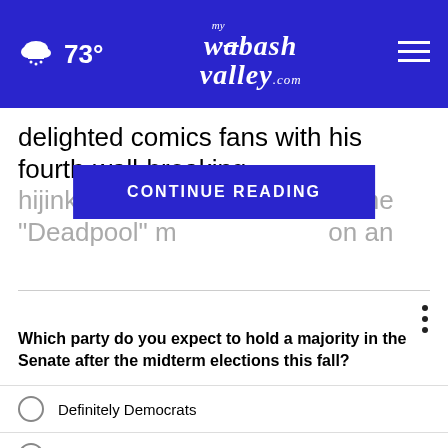73° my wabash valley .com
delighted comics fans with his fourth-wall-breaking hijinks for decades … the "Deadpool" m… on an
CONTINUE READING
Which party do you expect to hold a majority in the Senate after the midterm elections this fall?
Definitely Democrats
Probably Democrats
Probably Republicans
Definitely Republicans
Other / No opinion